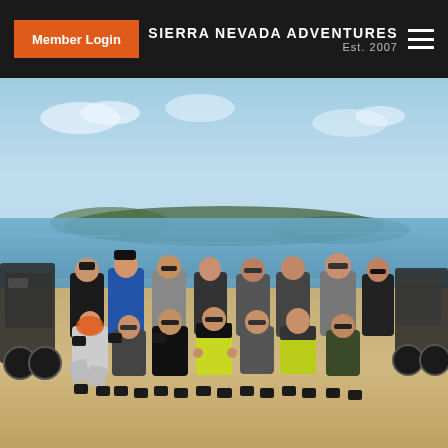Member Login | SIERRA NEVADA ADVENTURES Est. 2007
[Figure (photo): Group photo of approximately 13 motorcycle riders in riding gear posing on a sandy beach or coastal area. The group is arranged in two rows — a standing back row and a kneeling/crouching front row. In the background is a calm body of water with a tree-lined island or peninsula visible. Motorcycles are parked on the left and right edges of the photo. The riders are wearing various motorcycle gear including jackets in black, gray, blue, and high-visibility yellow/green colors.]